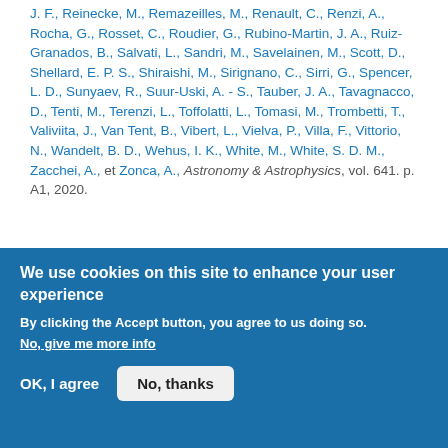J. F., Reinecke, M., Remazeilles, M., Renault, C., Renzi, A., Rocha, G., Rosset, C., Roudier, G., Rubino-Martin, J. A., Ruiz-Granados, B., Salvati, L., Sandri, M., Savelainen, M., Scott, D., Shellard, E. P. S., Shiraishi, M., Sirignano, C., Sirri, G., Spencer, L. D., Sunyaev, R., Suur-Uski, A. - S., Tauber, J. A., Tavagnacco, D., Tenti, M., Terenzi, L., Toffolatti, L., Tomasi, M., Trombetti, T., Valiviita, J., Van Tent, B., Vibert, L., Vielva, P., Villa, F., Vittorio, N., Wandelt, B. D., Wehus, I. K., White, M., White, S. D. M., Zacchei, A., et Zonca, A., Astronomy & Astrophysics, vol. 641. p. A1, 2020.
N. Aghanim, Akrami, Y., Ashdown, M., Aumont,
We use cookies on this site to enhance your user experience
By clicking the Accept button, you agree to us doing so.
No, give me more info